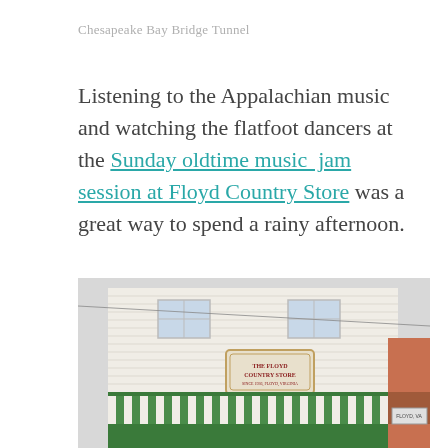Chesapeake Bay Bridge Tunnel
Listening to the Appalachian music and watching the flatfoot dancers at the Sunday oldtime music  jam session at Floyd Country Store was a great way to spend a rainy afternoon.
[Figure (photo): Exterior photograph of The Floyd Country Store, a two-story white clapboard building with green and white striped awning and a sign reading 'The Floyd Country Store'.]